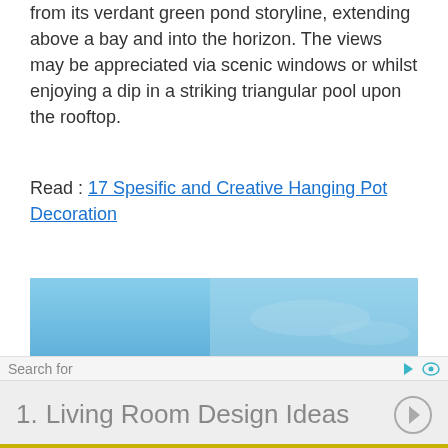from its verdant green pond storyline, extending above a bay and into the horizon. The views may be appreciated via scenic windows or whilst enjoying a dip in a striking triangular pool upon the rooftop.
Read : 17 Spesific and Creative Hanging Pot Decoration
[Figure (photo): Exterior architectural photo showing a building edge against a clear blue sky, with a wooden/dark panel visible in the lower left corner.]
Search for
1.  Living Room Design Ideas